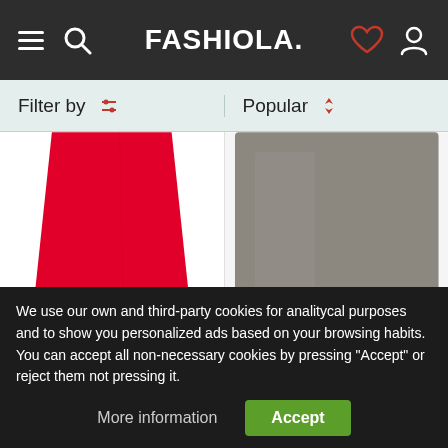[Figure (screenshot): Fashiola fashion website header navigation bar with hamburger menu, search icon, FASHIOLA. logo, heart/wishlist icon, and user account icon on dark background]
Filter by
Popular
[Figure (photo): Red mini skirt product photo on white background]
[Figure (photo): Gray/taupe blouse or top product photo on white background]
We use our own and third-party cookies for analitycal purposes and to show you personalized ads based on your browsing habits. You can accept all non-necessary cookies by pressing "Accept" or reject them not pressing it.
More information
Accept